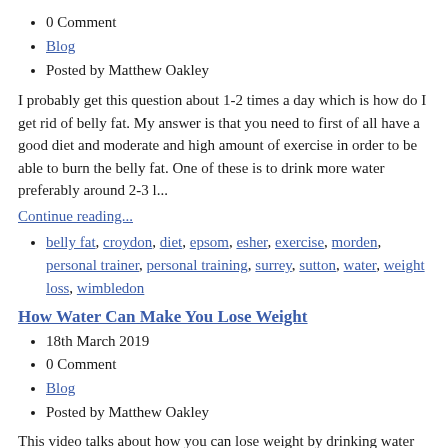0 Comment
Blog
Posted by Matthew Oakley
I probably get this question about 1-2 times a day which is how do I get rid of belly fat. My answer is that you need to first of all have a good diet and moderate and high amount of exercise in order to be able to burn the belly fat. One of these is to drink more water preferably around 2-3 l...
Continue reading...
belly fat, croydon, diet, epsom, esher, exercise, morden, personal trainer, personal training, surrey, sutton, water, weight loss, wimbledon
How Water Can Make You Lose Weight
18th March 2019
0 Comment
Blog
Posted by Matthew Oakley
This video talks about how you can lose weight by drinking water along with a healthy balanced diet!